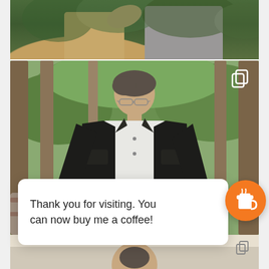[Figure (photo): Top portion of photo showing two people from waist down - one in khaki/beige pants on left, one in gray hoodie on right, with green trees/forest in background]
[Figure (photo): Main photo of a middle-aged man with glasses and salt-and-pepper hair, wearing a black jacket over a white t-shirt, standing in a forest setting with pine trees and a stone wall. A copy/multiple-image icon is visible in the top-right corner of the photo.]
Thank you for visiting. You can now buy me a coffee!
[Figure (photo): Bottom strip showing partial view of another photo, appears to show a person's face/head]